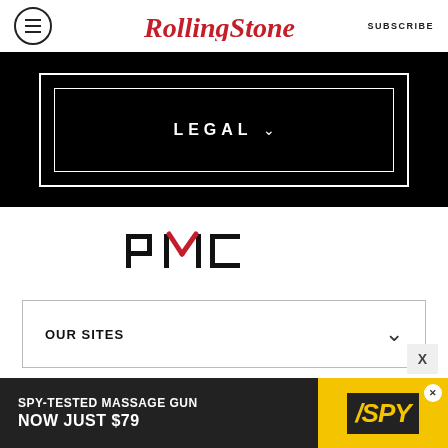Rolling Stone — SUBSCRIBE
[Figure (other): Black footer section with 'LEGAL' button surrounded by double white border rectangle]
[Figure (logo): PMC logo — black letters P M C with red diagonal accent on M]
OUR SITES
Copyright © 2022 Penske Business Media, LLC. All Rights Reserved.
Powered by WordPress.com VIP
[Figure (other): Advertisement banner: SPY-TESTED MASSAGE GUN NOW JUST $79 — SPY logo on yellow background]